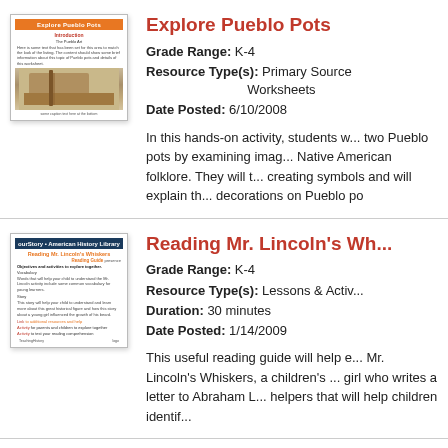Explore Pueblo Pots
Grade Range: K-4
Resource Type(s): Primary Source Worksheets
Date Posted: 6/10/2008
In this hands-on activity, students w... two Pueblo pots by examining imag... Native American folklore. They will t... creating symbols and will explain th... decorations on Pueblo po
Reading Mr. Lincoln's Wh...
Grade Range: K-4
Resource Type(s): Lessons & Activ...
Duration: 30 minutes
Date Posted: 1/14/2009
This useful reading guide will help e... Mr. Lincoln's Whiskers, a children's ... girl who writes a letter to Abraham L... helpers that will help children identif...
South... St...